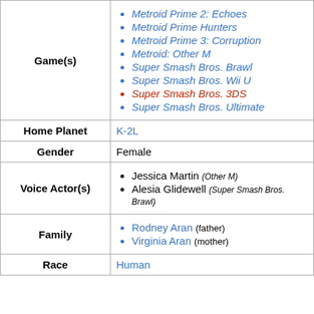| Field | Value |
| --- | --- |
| Game(s) | Metroid Prime 2: Echoes, Metroid Prime Hunters, Metroid Prime 3: Corruption, Metroid: Other M, Super Smash Bros. Brawl, Super Smash Bros. Wii U, Super Smash Bros. 3DS, Super Smash Bros. Ultimate |
| Home Planet | K-2L |
| Gender | Female |
| Voice Actor(s) | Jessica Martin (Other M), Alesia Glidewell (Super Smash Bros. Brawl) |
| Family | Rodney Aran (father), Virginia Aran (mother) |
| Race | Human |